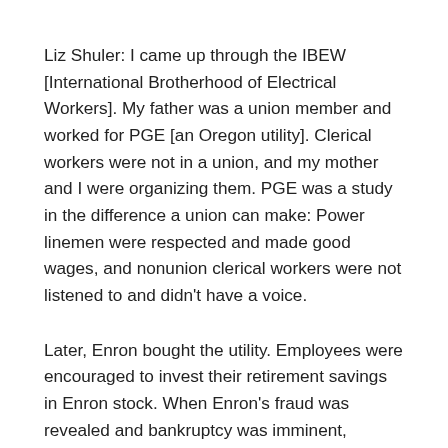Liz Shuler: I came up through the IBEW [International Brotherhood of Electrical Workers]. My father was a union member and worked for PGE [an Oregon utility]. Clerical workers were not in a union, and my mother and I were organizing them. PGE was a study in the difference a union can make: Power linemen were respected and made good wages, and nonunion clerical workers were not listened to and didn't have a voice.
Later, Enron bought the utility. Employees were encouraged to invest their retirement savings in Enron stock. When Enron's fraud was revealed and bankruptcy was imminent, employees could not sell their stock. My father lost his pension, so